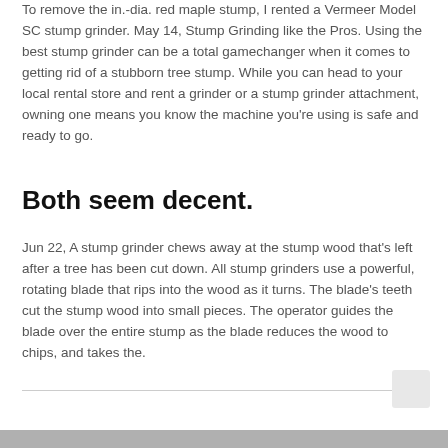To remove the in.-dia. red maple stump, I rented a Vermeer Model SC stump grinder. May 14, Stump Grinding like the Pros. Using the best stump grinder can be a total gamechanger when it comes to getting rid of a stubborn tree stump. While you can head to your local rental store and rent a grinder or a stump grinder attachment, owning one means you know the machine you're using is safe and ready to go.
Both seem decent.
Jun 22, A stump grinder chews away at the stump wood that's left after a tree has been cut down. All stump grinders use a powerful, rotating blade that rips into the wood as it turns. The blade's teeth cut the stump wood into small pieces. The operator guides the blade over the entire stump as the blade reduces the wood to chips, and takes the.